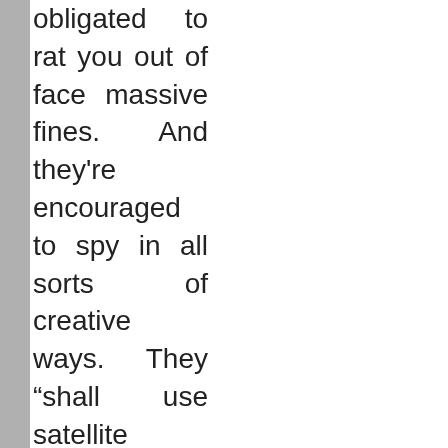obligated to rat you out of face massive fines. And they're encouraged to spy in all sorts of creative ways. They "shall use satellite imagery, site visits, or other best available technology to develop an